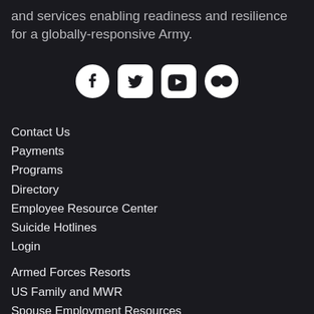and services enabling readiness and resilience for a globally-responsive Army.
[Figure (other): Social media icons: Facebook, Twitter, YouTube, Flickr]
Contact Us
Payments
Programs
Directory
Employee Resource Center
Suicide Hotlines
Login
Armed Forces Resorts
US Family and MWR
Spouse Employment Resources
ICE
Stars & Stripes